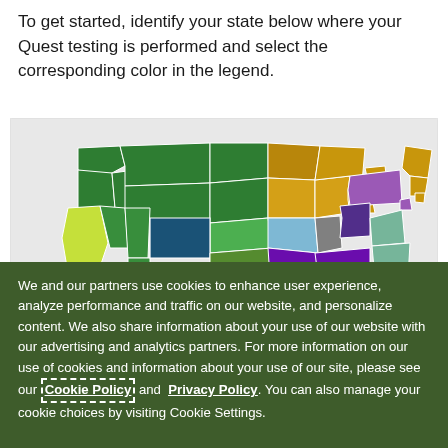To get started, identify your state below where your Quest testing is performed and select the corresponding color in the legend.
[Figure (map): Color-coded map of the United States showing different regions in distinct colors: dark green (Pacific Northwest/Mountain states), yellow-green (California), teal/medium green (Plains/South), light blue (Midwest), dark blue (Colorado), golden/amber (Upper Midwest and Mid-Atlantic), gray (Indiana area), dark purple (Missouri/Tennessee region), light purple/mauve (Pennsylvania area), seafoam green (Southeast coastal), and various other regional colors.]
We and our partners use cookies to enhance user experience, analyze performance and traffic on our website, and personalize content. We also share information about your use of our website with our advertising and analytics partners. For more information on our use of cookies and information about your use of our site, please see our Cookie Policy and Privacy Policy. You can also manage your cookie choices by visiting Cookie Settings.